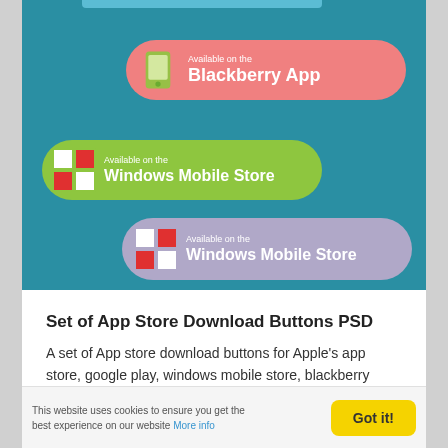[Figure (illustration): Teal background section showing three app store download buttons: Blackberry App (salmon/pink), Windows Mobile Store (green), Windows Mobile Store (purple/lavender)]
Set of App Store Download Buttons PSD
A set of App store download buttons for Apple's app store, google play, windows mobile store, blackberry store, and more.
This website uses cookies to ensure you get the best experience on our website More info Got it!